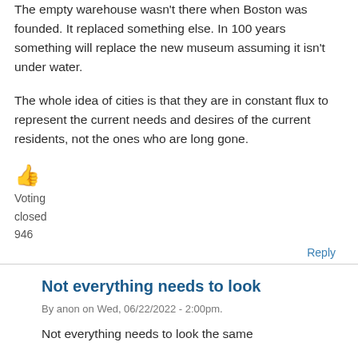The empty warehouse wasn't there when Boston was founded. It replaced something else. In 100 years something will replace the new museum assuming it isn't under water.
The whole idea of cities is that they are in constant flux to represent the current needs and desires of the current residents, not the ones who are long gone.
👍
Voting
closed
946
Reply
Not everything needs to look
By anon on Wed, 06/22/2022 - 2:00pm.
Not everything needs to look the same